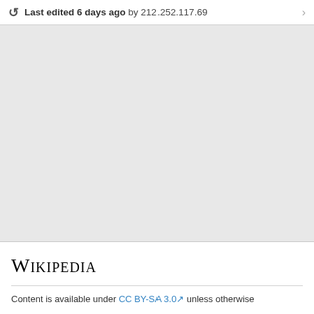Last edited 6 days ago by 212.252.117.69
Wikipedia
Content is available under CC BY-SA 3.0 unless otherwise